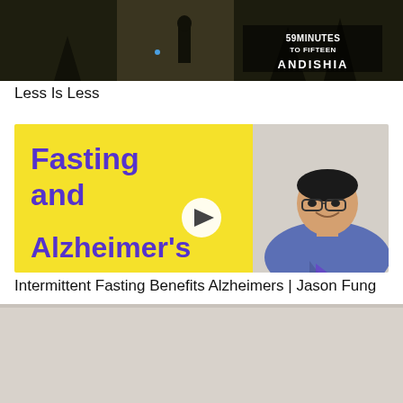[Figure (screenshot): Top portion of a video thumbnail showing a dark moody forest scene with a person standing, overlaid with text '59 MINUTES TO FIFTEEN ANDISHIA']
Less Is Less
[Figure (screenshot): Video thumbnail with yellow background on left half showing bold purple text 'Fasting and Alzheimer's', a white play button circle in the center, and a smiling Asian man in a blue shirt on the right half]
Intermittent Fasting Benefits Alzheimers | Jason Fung
[Figure (screenshot): Partial bottom image, mostly light gray/beige, cropped at the bottom of the page]